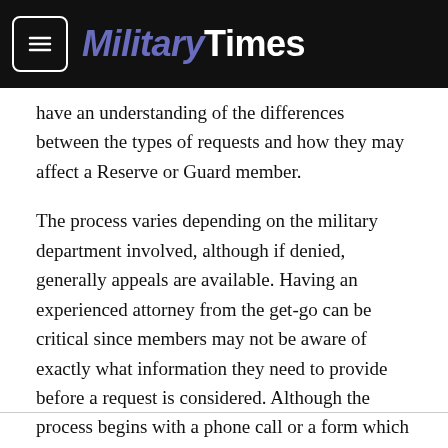MilitaryTimes
have an understanding of the differences between the types of requests and how they may affect a Reserve or Guard member.
The process varies depending on the military department involved, although if denied, generally appeals are available. Having an experienced attorney from the get-go can be critical since members may not be aware of exactly what information they need to provide before a request is considered. Although the process begins with a phone call or a form which may seem simple enough to complete, it is important to know what information a board is looking for in order to provide the strongest application possible. If past conflicts have taught us